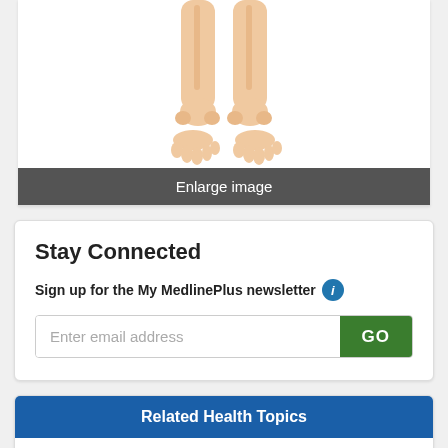[Figure (illustration): Medical illustration showing lower legs and feet viewed from the front, depicting bone/tendon structures with skin tone coloring. Partial view showing shins, ankles, and feet.]
Enlarge image
Stay Connected
Sign up for the My MedlinePlus newsletter
Enter email address
Related Health Topics
Dwarfism
Genetic Disorders